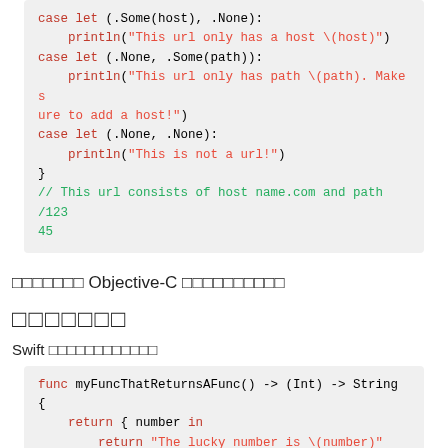[Figure (screenshot): Swift code block showing case let pattern matching for URL host/path combinations with println statements and a comment]
xxxxxxx Objective-C xxxxxxxxxx
xxxxxxx
Swift xxxxxxxxxxxx
[Figure (screenshot): Swift code block showing func myFuncThatReturnsAFunc() -> (Int) -> String with return closure returning lucky number string]